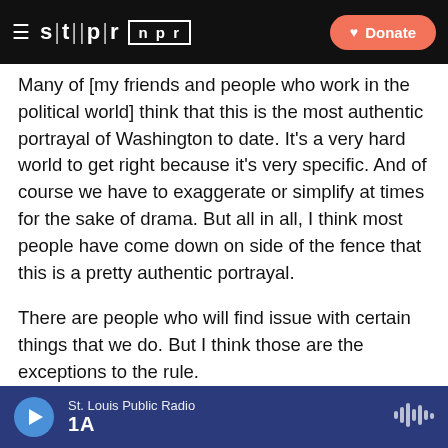stlpr | npr — Donate
Many of [my friends and people who work in the political world] think that this is the most authentic portrayal of Washington to date. It's a very hard world to get right because it's very specific. And of course we have to exaggerate or simplify at times for the sake of drama. But all in all, I think most people have come down on side of the fence that this is a pretty authentic portrayal.
There are people who will find issue with certain things that we do. But I think those are the exceptions to the rule.
One character who's provoked some controversy is
St. Louis Public Radio | 1A